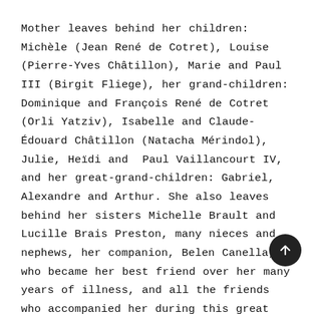Mother leaves behind her children: Michèle (Jean René de Cotret), Louise (Pierre-Yves Châtillon), Marie and Paul III (Birgit Fliege), her grandchildren: Dominique and François René de Cotret (Orli Yatziv), Isabelle and Claude-Édouard Châtillon (Natacha Mérindol), Julie, Heïdi and Paul Vaillancourt IV, and her great-grandchildren: Gabriel, Alexandre and Arthur. She also leaves behind her sisters Michelle Brault and Lucille Brais Preston, many nieces and nephews, her companion, Belen Canella, who became her best friend over her many years of illness, and all the friends who accompanied her during this great adventure that is life.
Our heartfelt thanks to the attendants and